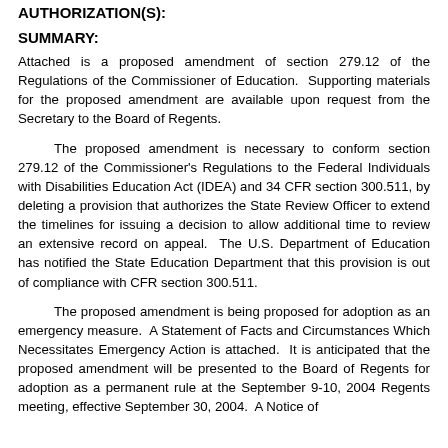AUTHORIZATION(S):
SUMMARY:
Attached is a proposed amendment of section 279.12 of the Regulations of the Commissioner of Education. Supporting materials for the proposed amendment are available upon request from the Secretary to the Board of Regents.
The proposed amendment is necessary to conform section 279.12 of the Commissioner's Regulations to the Federal Individuals with Disabilities Education Act (IDEA) and 34 CFR section 300.511, by deleting a provision that authorizes the State Review Officer to extend the timelines for issuing a decision to allow additional time to review an extensive record on appeal. The U.S. Department of Education has notified the State Education Department that this provision is out of compliance with CFR section 300.511.
The proposed amendment is being proposed for adoption as an emergency measure. A Statement of Facts and Circumstances Which Necessitates Emergency Action is attached. It is anticipated that the proposed amendment will be presented to the Board of Regents for adoption as a permanent rule at the September 9-10, 2004 Regents meeting, effective September 30, 2004. A Notice of